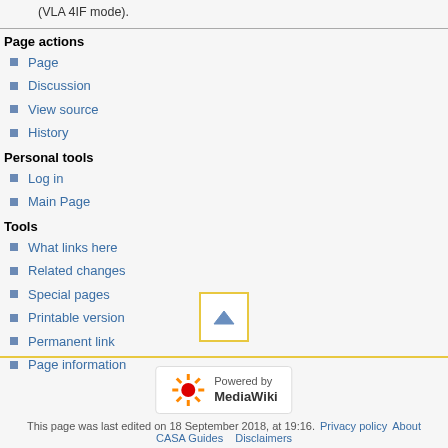(VLA 4IF mode).
Page actions
Page
Discussion
View source
History
Personal tools
Log in
Main Page
Tools
What links here
Related changes
Special pages
Printable version
Permanent link
Page information
[Figure (other): Scroll to top button with upward triangle arrow, bordered in yellow/gold]
[Figure (logo): Powered by MediaWiki badge with sunflower logo]
This page was last edited on 18 September 2018, at 19:16.  Privacy policy  About  CASA Guides  Disclaimers